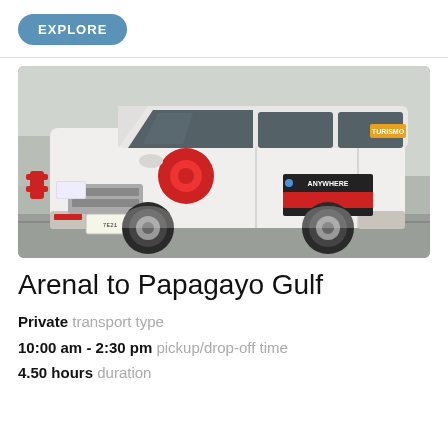EXPLORE
[Figure (photo): White Hyundai H1 minivan with red circle logo and 'ANYWHERE' branding decal, parked at what appears to be an airport or commercial area. The van has 'TURISMO' written near the top right and red reflector strips on the bumper.]
Arenal to Papagayo Gulf
Private transport type
10:00 am - 2:30 pm pickup/drop-off time
4.50 hours duration